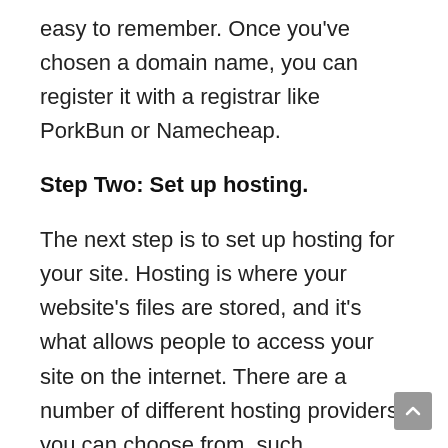easy to remember. Once you've chosen a domain name, you can register it with a registrar like PorkBun or Namecheap.
Step Two: Set up hosting.
The next step is to set up hosting for your site. Hosting is where your website's files are stored, and it's what allows people to access your site on the internet. There are a number of different hosting providers you can choose from, such